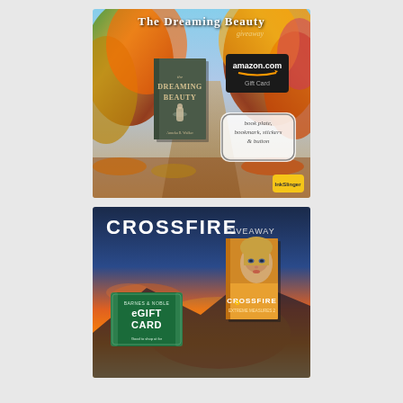[Figure (illustration): The Dreaming Beauty giveaway promotional image featuring the book cover of 'The Dreaming Beauty' by Anneka R. Walker, an Amazon.com Gift Card, and a label reading 'book plate, bookmark, stickers & button', set against an autumn forest background.]
[Figure (illustration): Crossfire giveaway promotional image featuring a Barnes & Noble eGift Card and the 'Crossfire' book cover (Extreme Measures 2), set against a dramatic sunset sky background.]